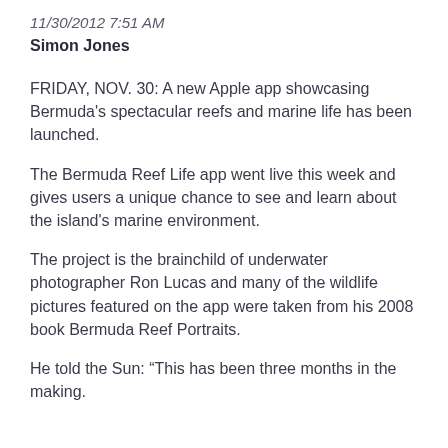11/30/2012 7:51 AM
Simon Jones
FRIDAY, NOV. 30: A new Apple app showcasing Bermuda's spectacular reefs and marine life has been launched.
The Bermuda Reef Life app went live this week and gives users a unique chance to see and learn about the island's marine environment.
The project is the brainchild of underwater photographer Ron Lucas and many of the wildlife pictures featured on the app were taken from his 2008 book Bermuda Reef Portraits.
He told the Sun: “This has been three months in the making.